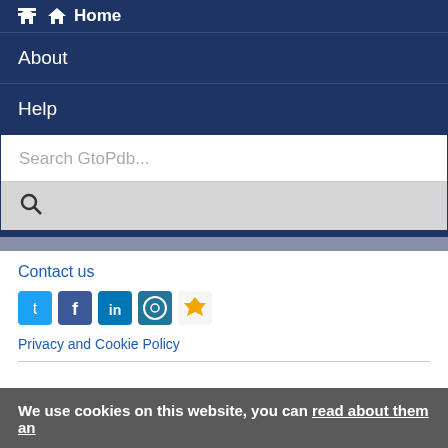Home
About
Help
Search GtoPdb...
Contact us
[Figure (infographic): Social media icons: Twitter, Facebook, LinkedIn, WordPress, extra icon]
Privacy and Cookie Policy
We use cookies on this website, you can read about them an
ACCE